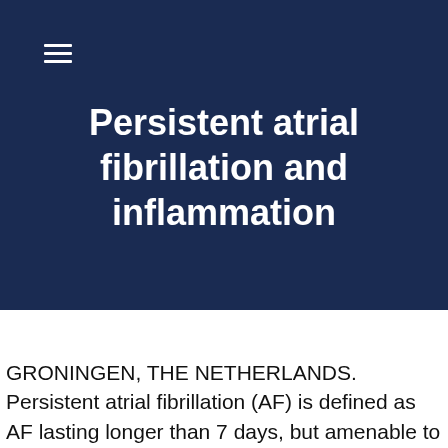≡
Persistent atrial fibrillation and inflammation
GRONINGEN, THE NETHERLANDS. Persistent atrial fibrillation (AF) is defined as AF lasting longer than 7 days, but amenable to cardioversion (chemical or